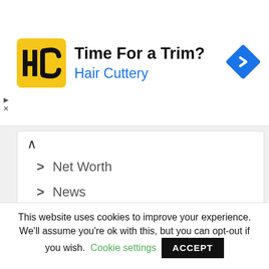[Figure (advertisement): Hair Cuttery advertisement banner with yellow HC logo, text 'Time For a Trim?' and 'Hair Cuttery' in blue, and a blue diamond navigation icon on the right]
> Net Worth
> News
> Seven Facts
> Steffanie Sampson- Gary Busey's Fiance, Relationship History and Children
This website uses cookies to improve your experience. We'll assume you're ok with this, but you can opt-out if you wish. Cookie settings ACCEPT